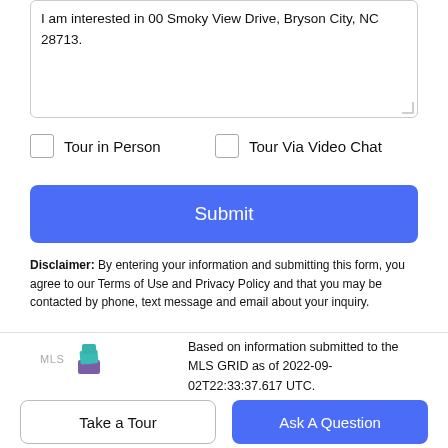I am interested in 00 Smoky View Drive, Bryson City, NC 28713.
Tour in Person
Tour Via Video Chat
Submit
Disclaimer: By entering your information and submitting this form, you agree to our Terms of Use and Privacy Policy and that you may be contacted by phone, text message and email about your inquiry.
[Figure (logo): MLS GRID logo — stacked geometric diamond/square shapes in teal and purple]
Based on information submitted to the MLS GRID as of 2022-09-02T22:33:37.617 UTC.
Take a Tour
Ask A Question